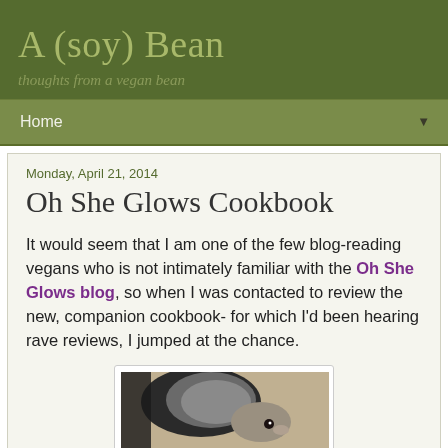A (soy) Bean
thoughts from a vegan bean
Home
Monday, April 21, 2014
Oh She Glows Cookbook
It would seem that I am one of the few blog-reading vegans who is not intimately familiar with the Oh She Glows blog, so when I was contacted to review the new, companion cookbook- for which I'd been hearing rave reviews, I jumped at the chance.
[Figure (photo): A close-up photo of what appears to be a small animal, possibly a guinea pig or similar pet, on a carpet or textured surface]